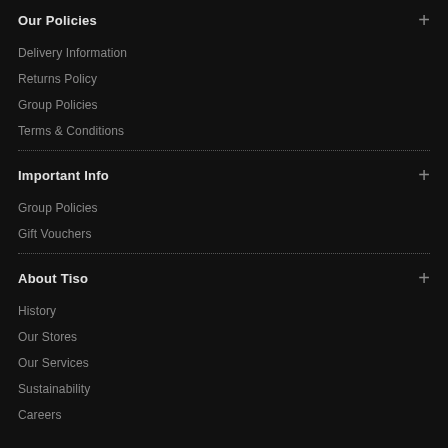Our Policies
Delivery Information
Returns Policy
Group Policies
Terms & Conditions
Important Info
Group Policies
Gift Vouchers
About Tiso
History
Our Stores
Our Services
Sustainability
Careers